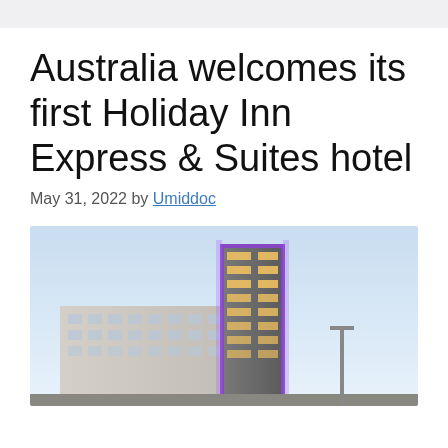Australia welcomes its first Holiday Inn Express & Suites hotel
May 31, 2022 by Umiddoc
[Figure (photo): Exterior photograph of a modern multi-storey hotel building at dusk with blue lighting on the upper floors, set against a light blue sky.]